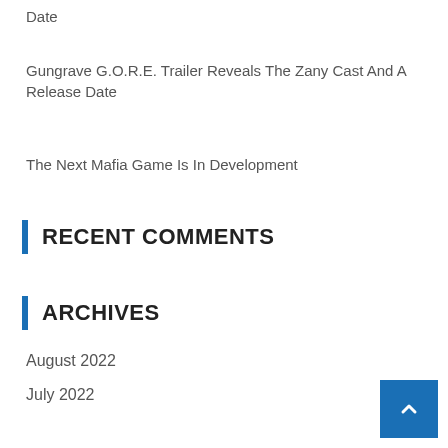Date
Gungrave G.O.R.E. Trailer Reveals The Zany Cast And A Release Date
The Next Mafia Game Is In Development
RECENT COMMENTS
ARCHIVES
August 2022
July 2022
June 2022
May 2022
April 2022